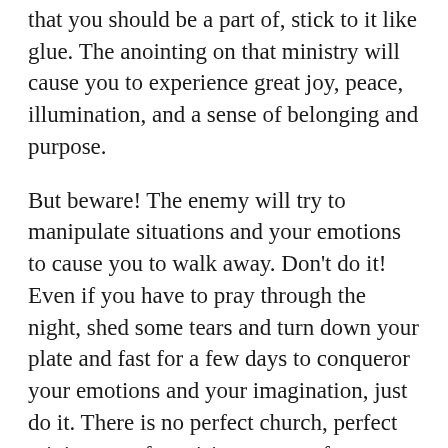that you should be a part of, stick to it like glue. The anointing on that ministry will cause you to experience great joy, peace, illumination, and a sense of belonging and purpose.
But beware! The enemy will try to manipulate situations and your emotions to cause you to walk away. Don't do it! Even if you have to pray through the night, shed some tears and turn down your plate and fast for a few days to conqueror your emotions and your imagination, just do it. There is no perfect church, perfect ministry, perfect vision, or a perfect leader. Don't waste your time looking for one; it doesn't exist! But, there is a vision, an anointing and ministry for you and your imperfections, and when you find it, you will know it. Remember, you must become a runner with your part in the vision. Speak with your leader and make yourself available. Be submitted, be faithful, be